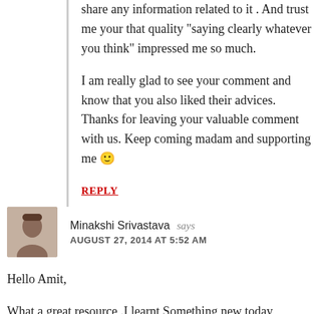share any information related to it . And trust me your that quality “saying clearly whatever you think” impressed me so much.
I am really glad to see your comment and know that you also liked their advices. Thanks for leaving your valuable comment with us. Keep coming madam and supporting me 😊
REPLY
Minakshi Srivastava says AUGUST 27, 2014 AT 5:52 AM
Hello Amit,
What a great resource .I learnt Something new today
It's amazing to have all the expert's tips in one post, this